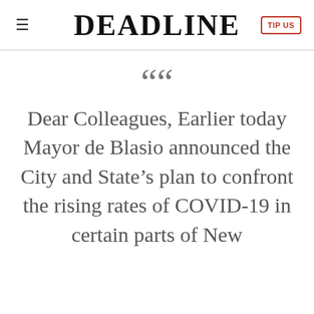DEADLINE
““ Dear Colleagues, Earlier today Mayor de Blasio announced the City and State’s plan to confront the rising rates of COVID-19 in certain parts of New